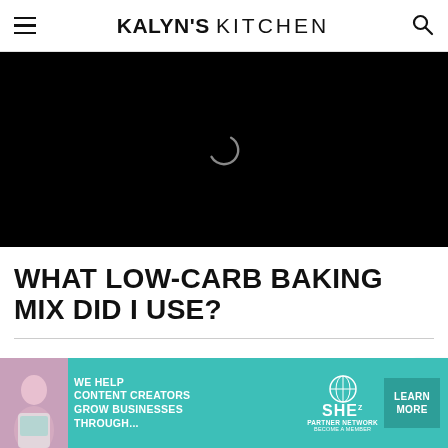KALYN'S KITCHEN
[Figure (screenshot): Black video player area with a loading spinner (light grey arc) centered on a black background]
WHAT LOW-CARB BAKING MIX DID I USE?
[Figure (infographic): Teal advertisement banner reading: WE HELP CONTENT CREATORS GROW BUSINESSES THROUGH... with SHE PARTNER NETWORK logo and a LEARN MORE button. Features a woman with a laptop on the left.]